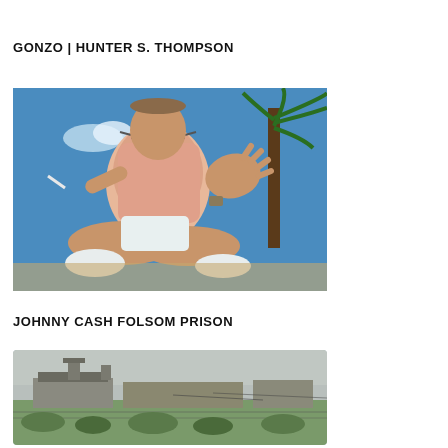GONZO | HUNTER S. THOMPSON
[Figure (photo): Hunter S. Thompson sitting cross-legged outdoors, wearing sunglasses and a patterned short-sleeve shirt, holding a cigarette holder, with one hand raised, palm forward. A palm tree is visible in the background against a blue sky.]
JOHNNY CASH FOLSOM PRISON
[Figure (photo): Black and white photograph of Folsom Prison exterior, showing low buildings and a tower against an overcast sky, with green shrubby landscape in the foreground.]